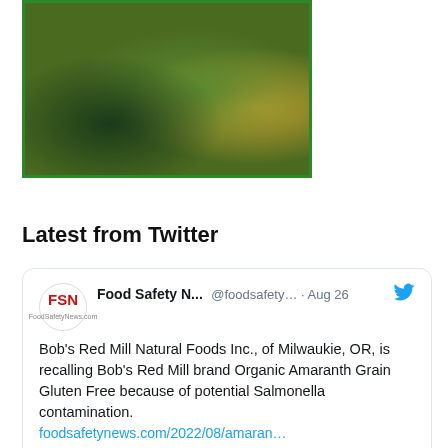[Figure (photo): Green plants and brown box/packaging with green border frame]
Latest from Twitter
Food Safety N... @foodsafety... · Aug 26
Bob's Red Mill Natural Foods Inc., of Milwaukie, OR, is recalling Bob's Red Mill brand Organic Amaranth Grain Gluten Free because of potential Salmonella contamination.
foodsafetynews.com/2022/08/amaran…
[Figure (screenshot): Article card showing amaranth grain image with title: Amaranth Grain recalled in 17 states because of Salmonella contamination. Source: Food Safety News]